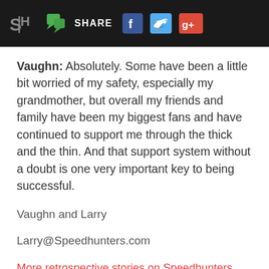SH | SHARE [Facebook] [Twitter] [Google+]
Vaughn: Absolutely. Some have been a little bit worried of my safety, especially my grandmother, but overall my friends and family have been my biggest fans and have continued to support me through the thick and the thin. And that support system without a doubt is one very important key to being successful.
Vaughn and Larry
Larry@Speedhunters.com
More retrospective stories on Speedhunters